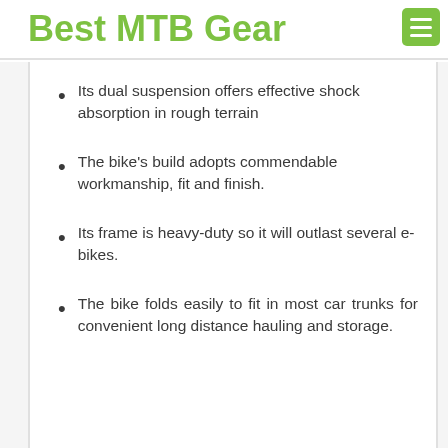Best MTB Gear
Its dual suspension offers effective shock absorption in rough terrain
The bike's build adopts commendable workmanship, fit and finish.
Its frame is heavy-duty so it will outlast several e-bikes.
The bike folds easily to fit in most car trunks for convenient long distance hauling and storage.